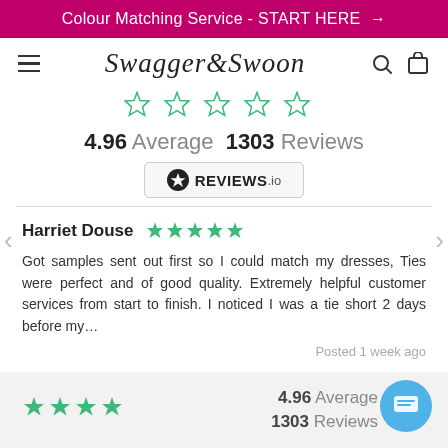Colour Matching Service - START HERE →
[Figure (logo): Swagger & Swoon script logo with hamburger menu, search and cart icons]
4.96 Average  1303 Reviews
[Figure (logo): REVIEWS.io badge with star icon]
Harriet Douse ★★★★★
Got samples sent out first so I could match my dresses, Ties were perfect and of good quality. Extremely helpful customer services from start to finish. I noticed I was a tie short 2 days before my…
Posted 1 week ago
4.96 Average
1303 Reviews